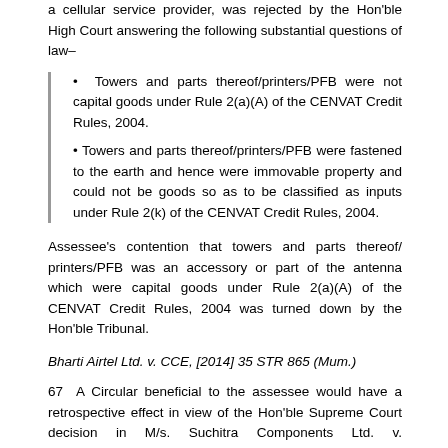a cellular service provider, was rejected by the Hon'ble High Court answering the following substantial questions of law–
Towers and parts thereof/printers/PFB were not capital goods under Rule 2(a)(A) of the CENVAT Credit Rules, 2004.
Towers and parts thereof/printers/PFB were fastened to the earth and hence were immovable property and could not be goods so as to be classified as inputs under Rule 2(k) of the CENVAT Credit Rules, 2004.
Assessee's contention that towers and parts thereof/ printers/PFB was an accessory or part of the antenna which were capital goods under Rule 2(a)(A) of the CENVAT Credit Rules, 2004 was turned down by the Hon'ble Tribunal.
Bharti Airtel Ltd. v. CCE, [2014] 35 STR 865 (Mum.)
67 A Circular beneficial to the assessee would have a retrospective effect in view of the Hon'ble Supreme Court decision in M/s. Suchitra Components Ltd. v. Commissioner, (2008) 11 STR 430 (S.C.) and hence benefit of Circular No. 868/6/2008-C.X. dated 9-5-2008 clarifying that export services were not 'exempted services' for the purpose of CENVAT credit